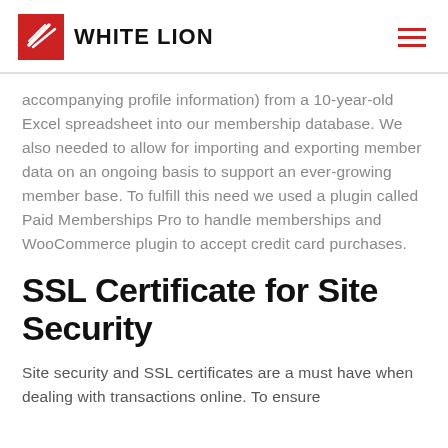WHITE LION
accompanying profile information) from a 10-year-old Excel spreadsheet into our membership database. We also needed to allow for importing and exporting member data on an ongoing basis to support an ever-growing member base. To fulfill this need we used a plugin called Paid Memberships Pro to handle memberships and WooCommerce plugin to accept credit card purchases.
SSL Certificate for Site Security
Site security and SSL certificates are a must have when dealing with transactions online. To ensure